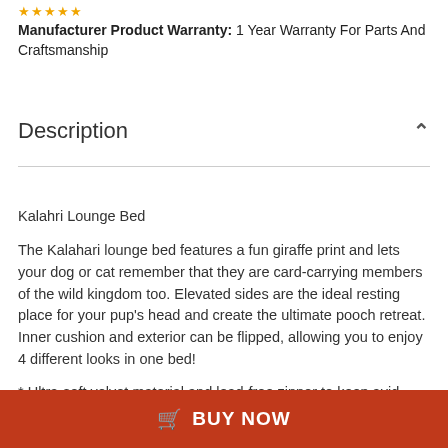★★★★★
Manufacturer Product Warranty: 1 Year Warranty For Parts And Craftsmanship
Description
Kalahri Lounge Bed
The Kalahari lounge bed features a fun giraffe print and lets your dog or cat remember that they are card-carrying members of the wild kingdom too. Elevated sides are the ideal resting place for your pup's head and create the ultimate pooch retreat. Inner cushion and exterior can be flipped, allowing you to enjoy 4 different looks in one bed!
* Ultra-soft velvet material and lead-free zipper to keep avid chewers safe from toxins
BUY NOW